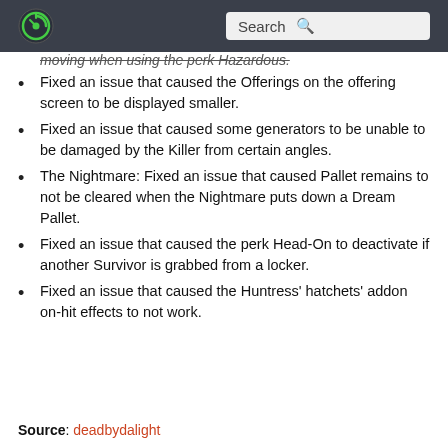Search
Fixed an issue that caused the Offerings on the offering screen to be displayed smaller.
Fixed an issue that caused some generators to be unable to be damaged by the Killer from certain angles.
The Nightmare: Fixed an issue that caused Pallet remains to not be cleared when the Nightmare puts down a Dream Pallet.
Fixed an issue that caused the perk Head-On to deactivate if another Survivor is grabbed from a locker.
Fixed an issue that caused the Huntress' hatchets' addon on-hit effects to not work.
Source: deadbydalight